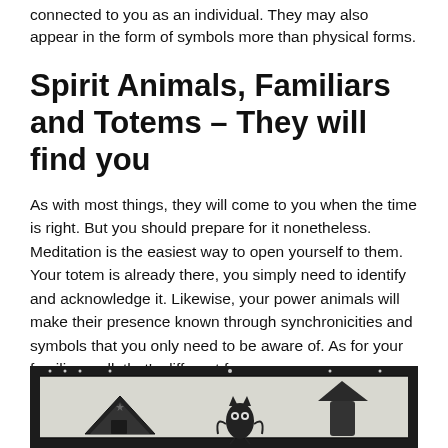connected to you as an individual. They may also appear in the form of symbols more than physical forms.
Spirit Animals, Familiars and Totems – They will find you
As with most things, they will come to you when the time is right. But you should prepare for it nonetheless. Meditation is the easiest way to open yourself to them. Your totem is already there, you simply need to identify and acknowledge it. Likewise, your power animals will make their presence known through synchronicities and symbols that you only need to be aware of. As for your familiar, well, that's different for everyone.
[Figure (illustration): A decorative black-bordered illustration showing mystical/occult imagery with a house-like structure and an owl figure against a light background, with ornamental border designs.]